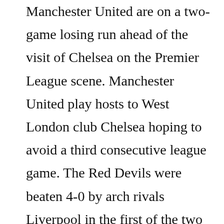Manchester United are on a two-game losing run ahead of the visit of Chelsea on the Premier League scene. Manchester United play hosts to West London club Chelsea hoping to avoid a third consecutive league game. The Red Devils were beaten 4-0 by arch rivals Liverpool in the first of the two successive league defeats as Manchester United on TV was a feature with Mohamed Salah (brace), Sadio Mane and Luis Diaz getting the goals for the home team. The 3-1 defeat at London team Arsenal on Saturday